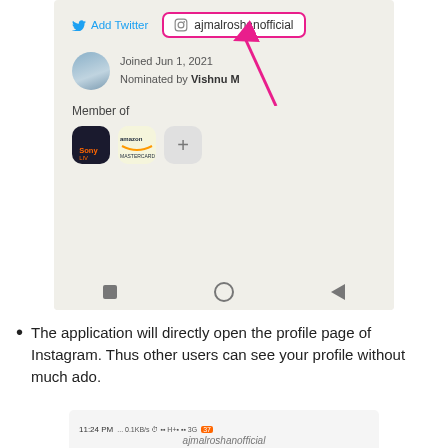[Figure (screenshot): A mobile app screenshot showing a profile page with 'Add Twitter' link and 'ajmalroshanofficial' Instagram handle in a pink-bordered box, profile avatar with 'Joined Jun 1, 2021, Nominated by Vishnu M', Member of section with two app icons and a plus button, a pink arrow annotation pointing to the Instagram box, and a navigation bar at the bottom.]
The application will directly open the profile page of Instagram. Thus other users can see your profile without much ado.
[Figure (screenshot): A partial mobile status bar showing 11:24 PM, 0.1KB/s, H+, 3G signal indicators, and the beginning of a username 'ajmalroshanofficial' at the bottom.]